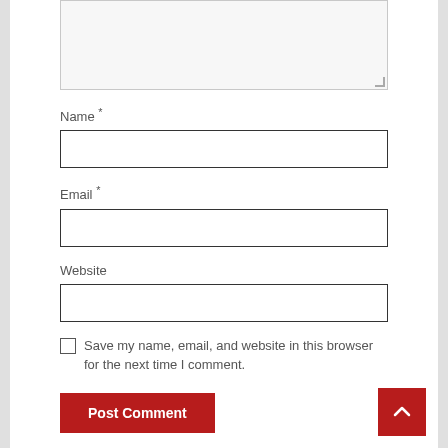[Figure (screenshot): Comment textarea (empty, light gray background with resize handle)]
Name *
[Figure (screenshot): Name input field (empty, white background with border)]
Email *
[Figure (screenshot): Email input field (empty, white background with border)]
Website
[Figure (screenshot): Website input field (empty, white background with border)]
Save my name, email, and website in this browser for the next time I comment.
Post Comment
[Figure (screenshot): Scroll-to-top button (red square with white upward arrow)]